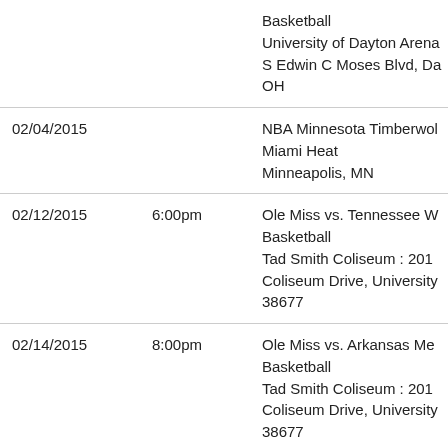| Date | Time | Event |
| --- | --- | --- |
|  |  | Basketball
University of Dayton Arena
S Edwin C Moses Blvd, Da
OH |
| 02/04/2015 |  | NBA Minnesota Timberwol
Miami Heat
Minneapolis, MN |
| 02/12/2015 | 6:00pm | Ole Miss vs. Tennessee W
Basketball
Tad Smith Coliseum : 201
Coliseum Drive, University
38677 |
| 02/14/2015 | 8:00pm | Ole Miss vs. Arkansas Me
Basketball
Tad Smith Coliseum : 201
Coliseum Drive, University
38677 |